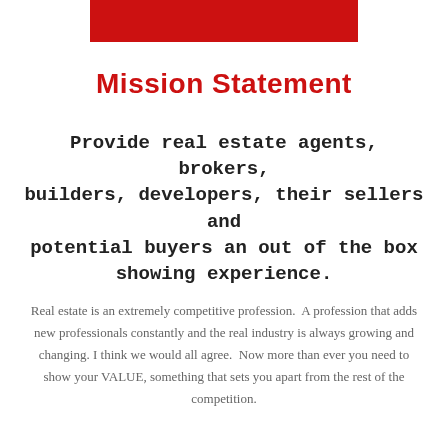[Figure (other): Red decorative bar at top of page]
Mission Statement
Provide real estate agents, brokers, builders, developers, their sellers and potential buyers an out of the box showing experience.
Real estate is an extremely competitive profession. A profession that adds new professionals constantly and the real industry is always growing and changing. I think we would all agree. Now more than ever you need to show your VALUE, something that sets you apart from the rest of the competition.